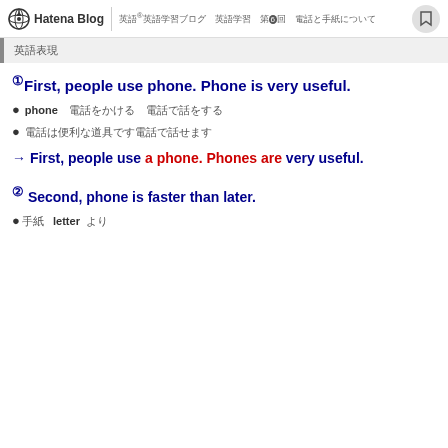Hatena Blog | 英語® 英語学習ブログ 第6回 電話と手紙について
英語表現
①First, people use phone. Phone is very useful.
phone　電話をかける　電話で話をする
電話は便利な道具です電話で話せます
→　First, people use a phone. Phones are very useful.
② Second, phone is faster than later.
●手紙　letter　より